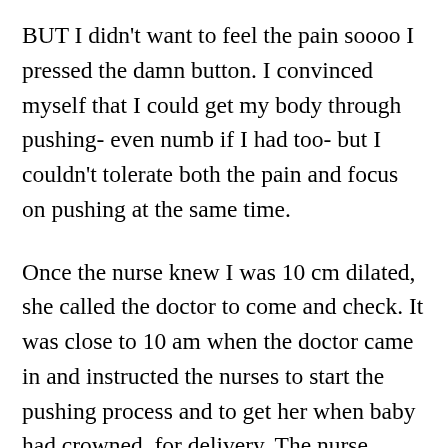BUT I didn't want to feel the pain soooo I pressed the damn button. I convinced myself that I could get my body through pushing- even numb if I had too- but I couldn't tolerate both the pain and focus on pushing at the same time.
Once the nurse knew I was 10 cm dilated, she called the doctor to come and check. It was close to 10 am when the doctor came in and instructed the nurses to start the pushing process and to get her when baby had crowned, for delivery. The nurse instructed me on how to push and how to breathe